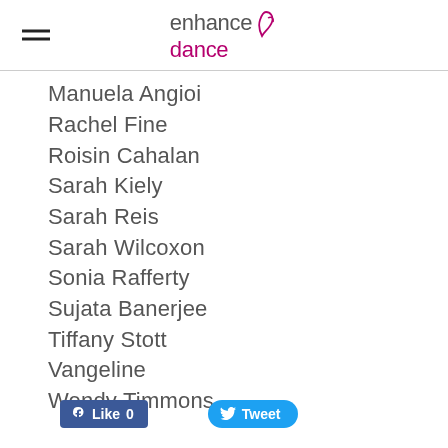enhance dance
Manuela Angioi
Rachel Fine
Roisin Cahalan
Sarah Kiely
Sarah Reis
Sarah Wilcoxon
Sonia Rafferty
Sujata Banerjee
Tiffany Stott
Vangeline
Wendy Timmons
Like 0  Tweet